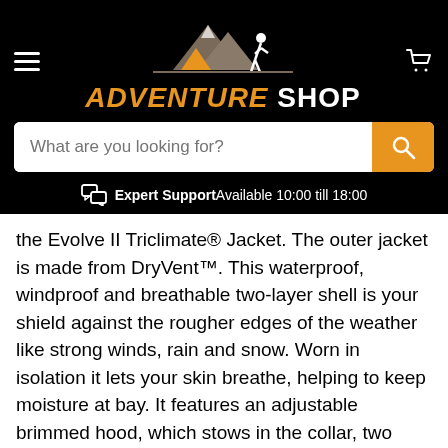[Figure (logo): Adventure Shop logo with mountain/tent/hiker silhouette and orange/white text]
What are you looking for?
Expert Support Available 10:00 till 18:00
the Evolve II Triclimate® Jacket. The outer jacket is made from DryVent™. This waterproof, windproof and breathable two-layer shell is your shield against the rougher edges of the weather like strong winds, rain and snow. Worn in isolation it lets your skin breathe, helping to keep moisture at bay. It features an adjustable brimmed hood, which stows in the collar, two hand pockets and an adjustable hem to lock out the chill. The inner jacket is made from resilient, hardwearing polyester fleece. It insulates against the cold while allowing your skin to expel moisture, helping you maintain a 'just-right' temperature. You can wear it on its own for lightweight, breathable warmth